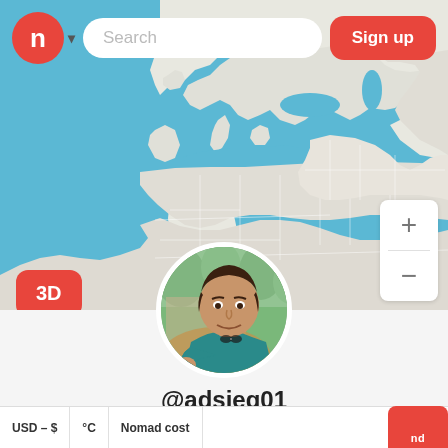[Figure (screenshot): Map view showing world map with blue ocean and white landmasses, with navigation header]
[Figure (photo): Circular profile photo of a man sitting at a cafe with a coffee drink, wearing a teal shirt]
@adsieg01
Send a message
Follow
USD – $
°C
Nomad cost
Messages